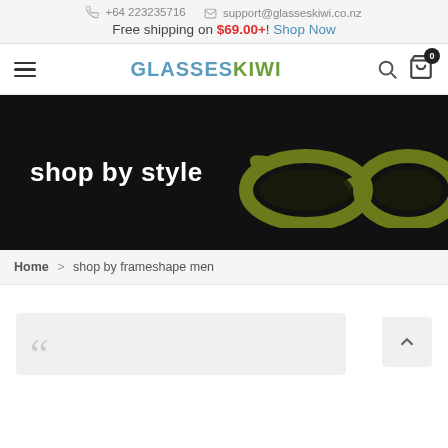+64 223235716  support@glasseskiwi.co.nz  Free shipping on $69.00+! Shop Now
GLASSES KIWI
[Figure (screenshot): Hero banner with black background showing 'shop by style' text in white and olive/green cat-eye glasses illustration on the right]
Home > shop by frameshape men
[Figure (other): Partial view of a quote card with large grey quotation marks at bottom]